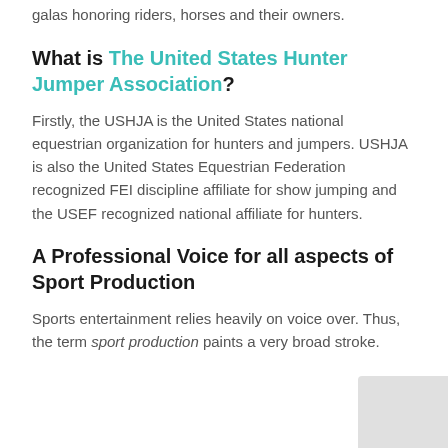galas honoring riders, horses and their owners.
What is The United States Hunter Jumper Association?
Firstly, the USHJA is the United States national equestrian organization for hunters and jumpers. USHJA is also the United States Equestrian Federation recognized FEI discipline affiliate for show jumping and the USEF recognized national affiliate for hunters.
A Professional Voice for all aspects of Sport Production
Sports entertainment relies heavily on voice over. Thus, the term sport production paints a very broad stroke.